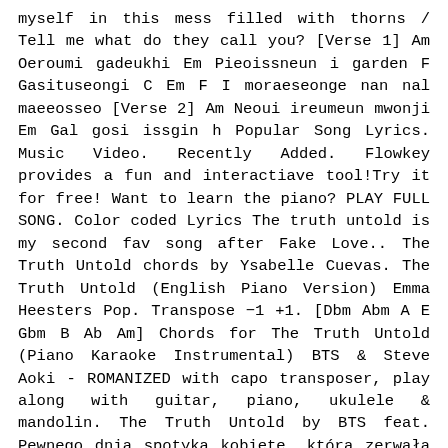myself in this mess filled with thorns / Tell me what do they call you? [Verse 1] Am Oeroumi gadeukhi Em Pieoissneun i garden F Gasituseongi C Em F I moraeseonge nan nal maeeosseo [Verse 2] Am Neoui ireumeun mwonji Em Gal gosi issgin h Popular Song Lyrics. Music Video. Recently Added. Flowkey provides a fun and interactiave tool!Try it for free! Want to learn the piano? PLAY FULL SONG. Color coded Lyrics The truth untold is my second fav song after Fake Love.. The Truth Untold chords by Ysabelle Cuevas. The Truth Untold (English Piano Version) Emma Heesters Pop. Transpose −1 +1. [Dbm Abm A E Gbm B Ab Am] Chords for The Truth Untold (Piano Karaoke Instrumental) BTS & Steve Aoki - ROMANIZED with capo transposer, play along with guitar, piano, ukulele & mandolin. The Truth Untold by BTS feat. Pewnego dnia spotyka kobietę, która zerwałą jego kwiaty. Cover Sessions, Vol. NIe opuszcza on go nigdy, ponieważ sądzi żę jest brzydki.
Last edit on Apr 13, 2019. Can't take my [Dmaj7]eyes off you. Download Free Music Sheet BTS (방탄소년단) - The